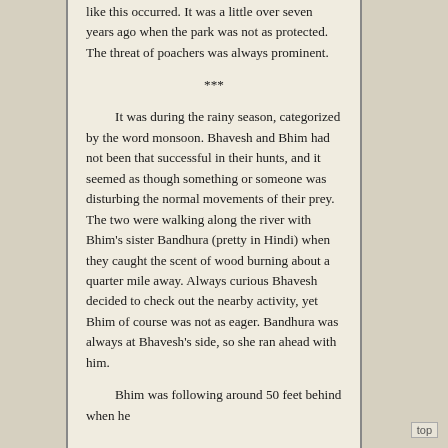like this occurred.  It was a little over seven years ago when the park was not as protected.  The threat of poachers was always prominent.
***
It was during the rainy season, categorized by the word monsoon.  Bhavesh and Bhim had not been that successful in their hunts, and it seemed as though something or someone was disturbing the normal movements of their prey.  The two were walking along the river with Bhim's sister Bandhura (pretty in Hindi) when they caught the scent of wood burning about a quarter mile away.  Always curious Bhavesh decided to check out the nearby activity, yet Bhim of course was not as eager.  Bandhura was always at Bhavesh's side, so she ran ahead with him.
Bhim was following around 50 feet behind when he
top